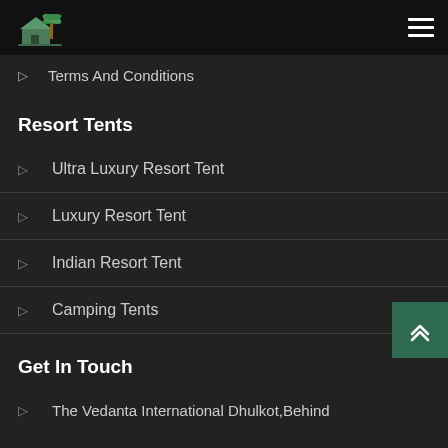Navigation bar with logo and hamburger menu
Terms And Conditions
Resort Tents
Ultra Luxury Resort Tent
Luxury Resort Tent
Indian Resort Tent
Camping Tents
Get In Touch
The Vedanta International Dhulkot,Behind